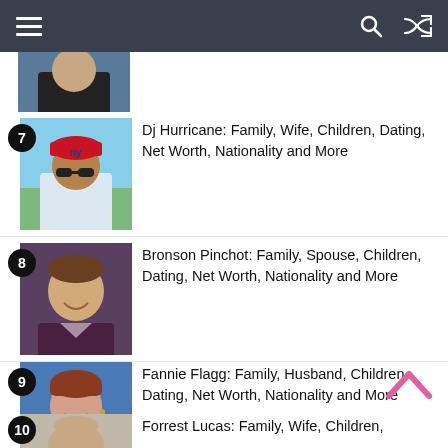Navigation bar with hamburger menu, search and shuffle icons
[Figure (photo): Partial photo at top — person in black jacket]
7 — Dj Hurricane: Family, Wife, Children, Dating, Net Worth, Nationality and More
8 — Bronson Pinchot: Family, Spouse, Children, Dating, Net Worth, Nationality and More
9 — Fannie Flagg: Family, Husband, Children, Dating, Net Worth, Nationality and More
10 — Forrest Lucas: Family, Wife, Children,